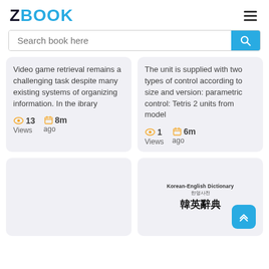ZBOOK
Search book here
Video game retrieval remains a challenging task despite many existing systems of organizing information. In the ibrary
13 Views  8m ago
The unit is supplied with two types of control according to size and version: parametric control: Tetris 2 units from model
1 Views  6m ago
[Figure (other): Book card placeholder left, empty gray card]
[Figure (other): Book cover: Korean-English Dictionary, 한영사전, 韓英辭典]